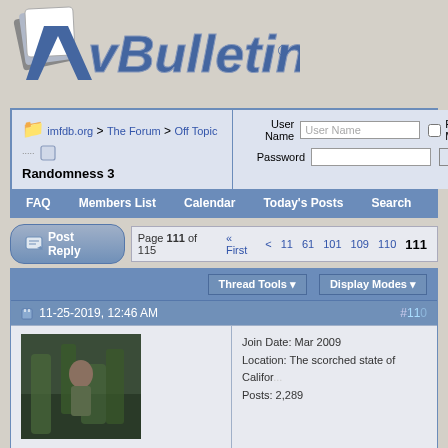[Figure (logo): vBulletin logo with stylized V icon and italic blue vBulletin text]
imfdb.org > The Forum > Off Topic
Randomness 3
User Name [field] Remember Me? Password [field] Log in
FAQ  Members List  Calendar  Today's Posts  Search
Post Reply  Page 111 of 115  « First  <  11  61  101  109  110  111
Thread Tools  Display Modes
11-25-2019, 12:46 AM  #11[0]
[Figure (photo): Avatar image of Spartan198 showing a person in jungle/outdoor setting]
Spartan198
Senior Member
Join Date: Mar 2009
Location: The scorched state of California
Posts: 2,289
Quote: